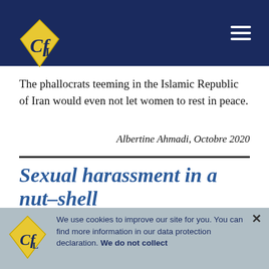[Figure (logo): CfL diamond-shaped logo in yellow/gold with dark blue background header bar, and hamburger menu icon on the right]
The phallocrats teeming in the Islamic Republic of Iran would even not let women to rest in peace.
Albertine Ahmadi, Octobre 2020
Sexual harassment in a nutshell
These posters (see above) are seen in Iranian public places. We just added a Pinocchio emoji to symbolise the
We use cookies to improve our site for you. You can find more information in our data protection declaration. We do not collect